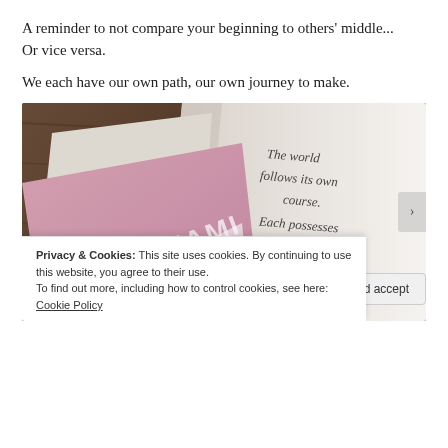A reminder to not compare your beginning to others' middle... Or vice versa.

We each have our own path, our own journey to make.
[Figure (photo): Photo of a pink Murakami book next to an open notebook with cursive handwriting reading 'The world follows its own course. Each possesses...']
Privacy & Cookies: This site uses cookies. By continuing to use this website, you agree to their use.
To find out more, including how to control cookies, see here: Cookie Policy
Close and accept